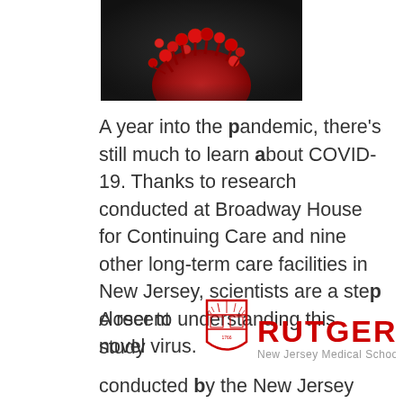[Figure (photo): Close-up photograph of a coronavirus (SARS-CoV-2) particle rendered against a dark background, showing red spike proteins]
A year into the pandemic, there's still much to learn about COVID-19. Thanks to research conducted at Broadway House for Continuing Care and nine other long-term care facilities in New Jersey, scientists are a step closer to understanding this novel virus.
[Figure (logo): Rutgers New Jersey Medical School logo — shield emblem on left, RUTGERS in large red bold text, 'New Jersey Medical School' in gray below]
A recent study
conducted by the New Jersey Department of Health and the Rutgers New Jersey Medical School sought to measure the